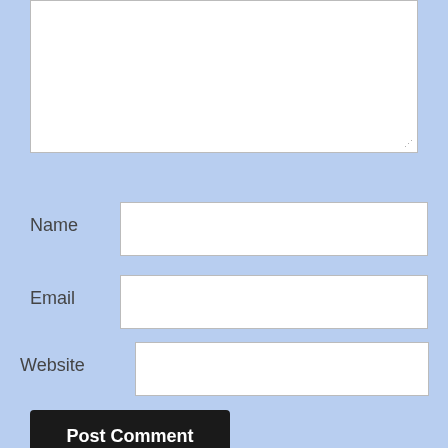[Figure (screenshot): Comment form textarea at top, partially visible, white rectangle with resize handle]
Name
Email
Website
Post Comment
Notify me of new comments via email.
Notify me of new posts via email.